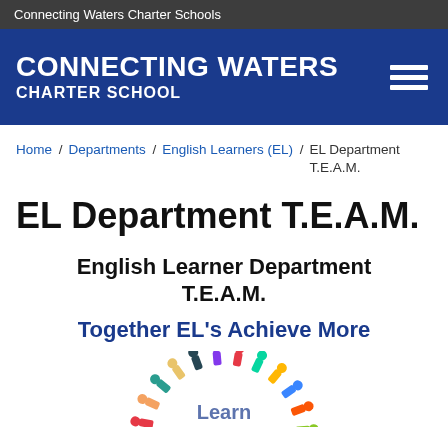Connecting Waters Charter Schools
CONNECTING WATERS CHARTER SCHOOL
Home / Departments / English Learners (EL) / EL Department T.E.A.M.
EL Department T.E.A.M.
English Learner Department T.E.A.M.
Together EL's Achieve More
[Figure (illustration): Colorful cartoon figures of people standing in a circle, holding hands, forming a team circle. The word 'Learn' appears to be visible at the bottom center of the circle.]